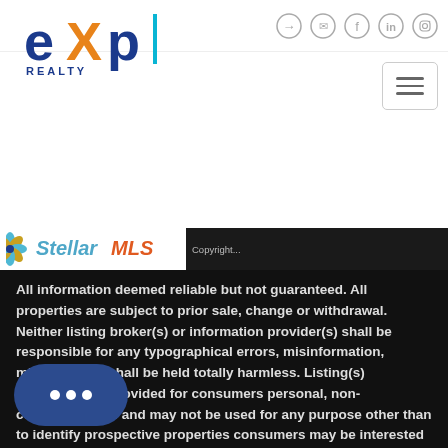[Figure (logo): eXp Realty logo in top left, blue and orange lettering]
[Figure (logo): Stellar MLS logo in white box on dark bar]
All information deemed reliable but not guaranteed. All properties are subject to prior sale, change or withdrawal. Neither listing broker(s) or information provider(s) shall be responsible for any typographical errors, misinformation, misprints and shall be held totally harmless. Listing(s) information is provided for consumers personal, non-commercial use and may not be used for any purpose other than to identify prospective properties consumers may be interested in purchasing. Information on this site was last updated Last August 31, 2022 10:04 AM UTC The listing information on this page last changed on Last updated on